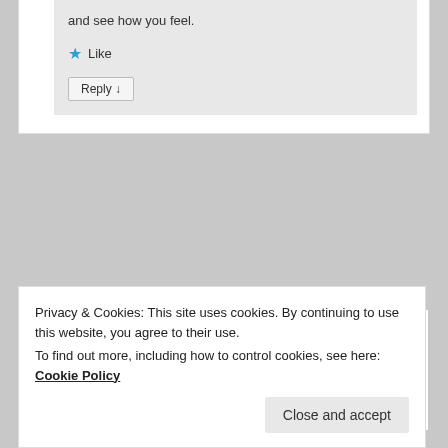and see how you feel.
★ Like
Reply ↓
The Platform Where WordPress Works Best
Privacy & Cookies: This site uses cookies. By continuing to use this website, you agree to their use.
To find out more, including how to control cookies, see here: Cookie Policy
Close and accept